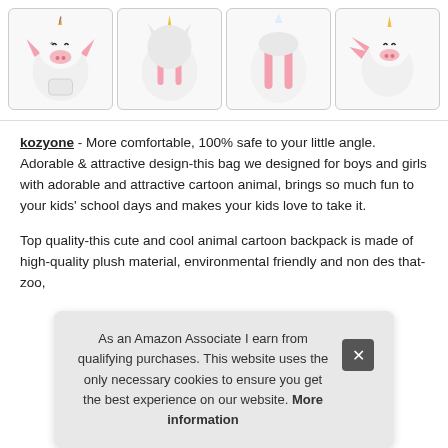[Figure (photo): Four product photos of a white unicorn plush backpack: front view, rear view, back strap view, and side view with wings and pink accents.]
kozyone - More comfortable, 100% safe to your little angle. Adorable & attractive design-this bag we designed for boys and girls with adorable and attractive cartoon animal, brings so much fun to your kids' school days and makes your kids love to take it.
Top quality-this cute and cool animal cartoon backpack is made of high-quality plush material, environmental friendly and non... des... that... zoo...
As an Amazon Associate I earn from qualifying purchases. This website uses the only necessary cookies to ensure you get the best experience on our website. More information
More information